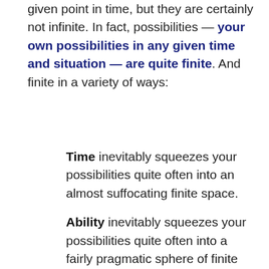given point in time, but they are certainly not infinite. In fact, possibilities — your own possibilities in any given time and situation — are quite finite. And finite in a variety of ways:
Time inevitably squeezes your possibilities quite often into an almost suffocating finite space.
Ability inevitably squeezes your possibilities quite often into a fairly pragmatic sphere of finite